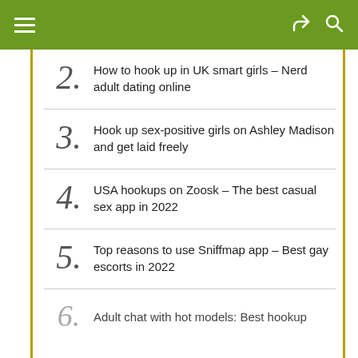2. How to hook up in UK smart girls – Nerd adult dating online
3. Hook up sex-positive girls on Ashley Madison and get laid freely
4. USA hookups on Zoosk – The best casual sex app in 2022
5. Top reasons to use Sniffmap app – Best gay escorts in 2022
6. Adult chat with hot models: Best hookup